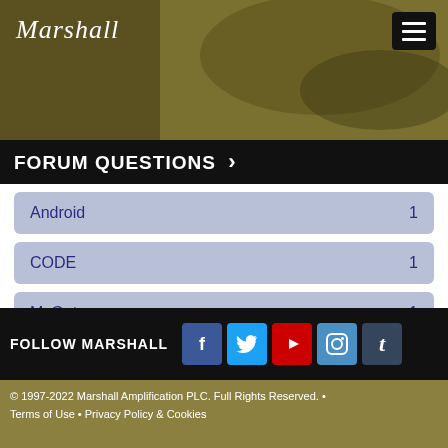Marshall — Forum Questions
FORUM QUESTIONS >
Android 1
CODE 1
MyGateway 1
Sync 1
Showing result 1 of 1
FOLLOW MARSHALL
© 1997-2022 Marshall Amplification PLC. Full Rights Reserved. • Terms of Use • Privacy Policy & Cookies